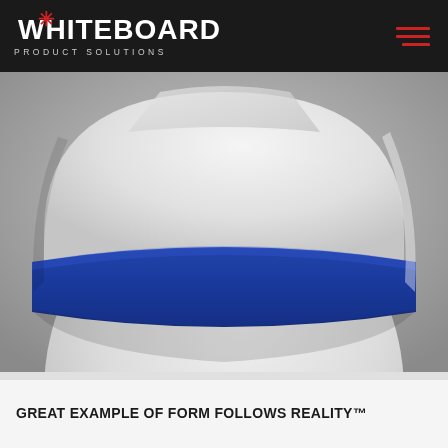WHITEBOARD PRODUCT SOLUTIONS
[Figure (photo): Close-up photo of a white industrial/consumer product (appears to be a water softener or similar appliance) with a bold blue horizontal band/stripe around its midsection. The product has smooth white curved surfaces above and below the blue accent band. Background is neutral gray.]
GREAT EXAMPLE OF FORM FOLLOWS REALITY™